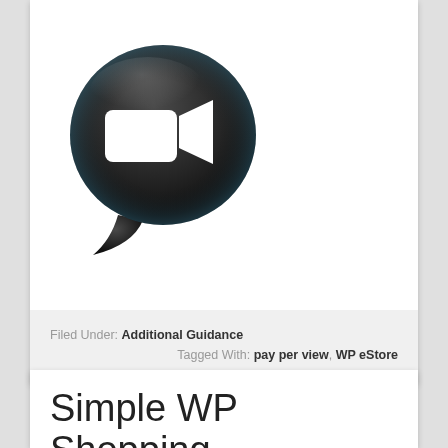[Figure (logo): FaceTime-style video chat icon: dark speech bubble with white video camera symbol inside]
Filed Under: Additional Guidance
Tagged With: pay per view, WP eStore
Simple WP Shopping Cart FAQ